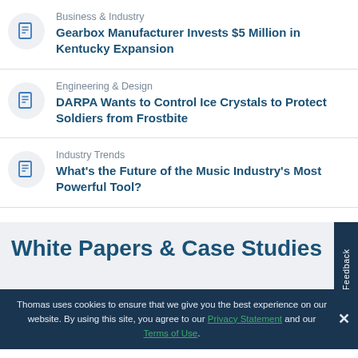Business & Industry — Gearbox Manufacturer Invests $5 Million in Kentucky Expansion
Engineering & Design — DARPA Wants to Control Ice Crystals to Protect Soldiers from Frostbite
Industry Trends — What's the Future of the Music Industry's Most Powerful Tool?
White Papers & Case Studies
Thomas uses cookies to ensure that we give you the best experience on our website. By using this site, you agree to our Privacy Statement and our Terms of Use.